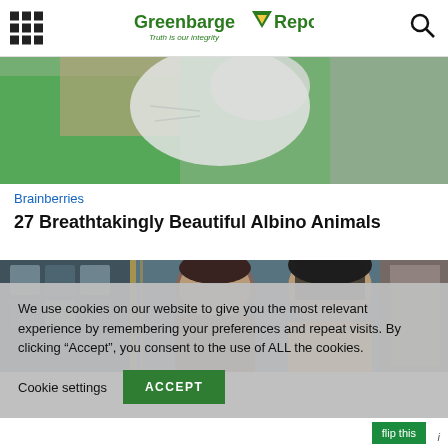Greenbarge Reporters — Truth is our integrity
[Figure (photo): Close-up photo of a person in green shirt with a white fluffy animal (likely an albino animal)]
Brainberries
27 Breathtakingly Beautiful Albino Animals
[Figure (photo): Photo of a man and a woman smiling, in a colorful interior setting]
We use cookies on our website to give you the most relevant experience by remembering your preferences and repeat visits. By clicking “Accept”, you consent to the use of ALL the cookies.
Cookie settings   ACCEPT